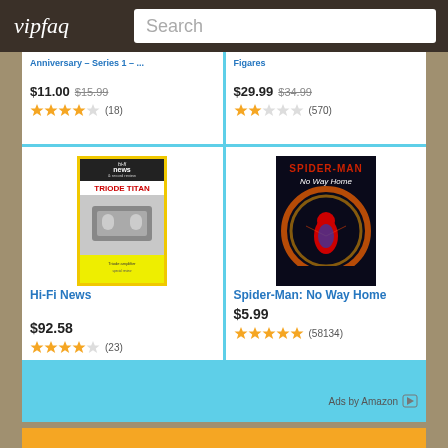vipfaq — Search
[Figure (screenshot): Partial product listing: Anniversary Series 1 item at $11.00 (was $15.99), 3.5 stars, 18 reviews; Figares item at $29.99 (was $34.99), 2.5 stars, 570 reviews]
[Figure (photo): Hi-Fi News magazine cover showing TRIODE TITAN article]
Hi-Fi News
$92.58
(23)
[Figure (photo): Spider-Man: No Way Home movie poster]
Spider-Man: No Way Home
$5.99
(58134)
Ads by Amazon